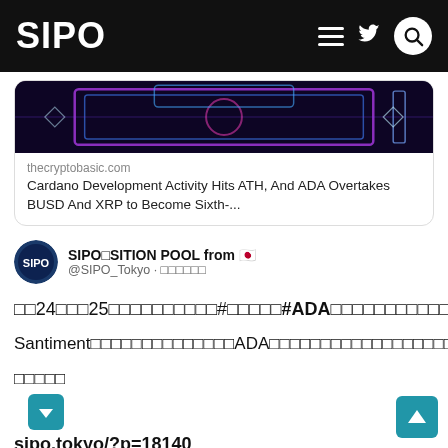SIPO
[Figure (screenshot): Article card with neon-themed image. Source: thecryptobasic.com. Title: Cardano Development Activity Hits ATH, And ADA Overtakes BUSD And XRP to Become Sixth-...]
thecryptobasic.com
Cardano Development Activity Hits ATH, And ADA Overtakes BUSD And XRP to Become Sixth-...
SIPO□SITION POOL from 🇯🇵
@SIPO_Tokyo · □□□□□□
□□24□□□25□□□□□□□□□□#□□□□□#ADA□□□□□□□□□□□□□□□□□□□□□□□□□□6□□□□
Santiment□□□□□□□□□□□□□□ADA□□□□□□□□□□□□□□□□□□□□□□□□□ATH□□□□□□□□□□□
□□□□□
▼
sipo.tokyo/?p=18140